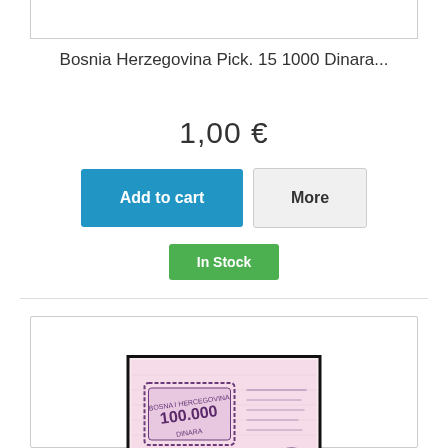[Figure (other): Top portion of a product listing card, partially visible at top of page]
Bosnia Herzegovina Pick. 15 1000 Dinara...
1,00 €
Add to cart
More
In Stock
[Figure (photo): Banknote image showing Bosnia Herzegovina 100,000 Dinara currency note with pink/purple coloring and black border]